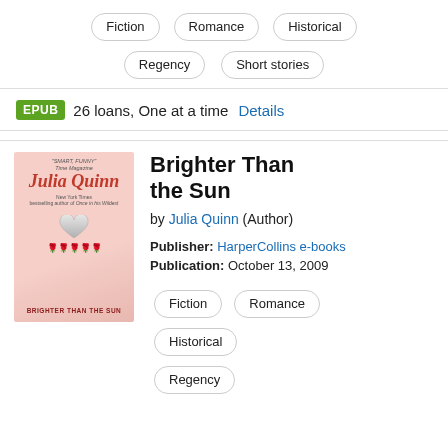Fiction
Romance
Historical
Regency
Short stories
EPUB  26 loans, One at a time  Details
[Figure (illustration): Book cover of 'Brighter Than the Sun' by Julia Quinn, pink background with roses and a silver heart]
Brighter Than the Sun
by Julia Quinn (Author)
Publisher: HarperCollins e-books
Publication: October 13, 2009
Fiction
Romance
Historical
Regency